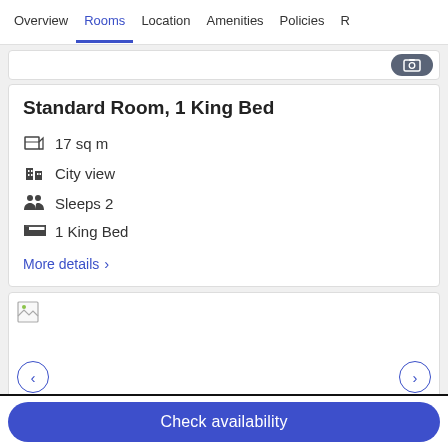Overview  Rooms  Location  Amenities  Policies  R
Standard Room, 1 King Bed
17 sq m
City view
Sleeps 2
1 King Bed
More details >
[Figure (photo): Room image placeholder (broken image icon shown)]
Check availability